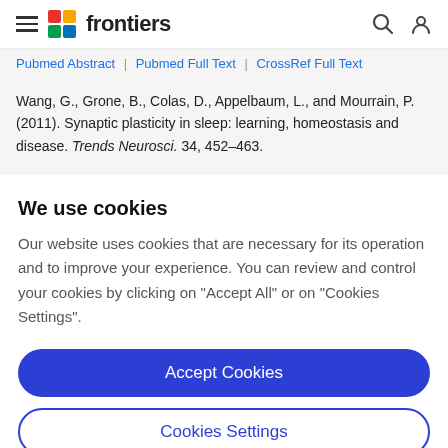frontiers
Pubmed Abstract | Pubmed Full Text | CrossRef Full Text
Wang, G., Grone, B., Colas, D., Appelbaum, L., and Mourrain, P. (2011). Synaptic plasticity in sleep: learning, homeostasis and disease. Trends Neurosci. 34, 452–463.
We use cookies
Our website uses cookies that are necessary for its operation and to improve your experience. You can review and control your cookies by clicking on "Accept All" or on "Cookies Settings".
Accept Cookies
Cookies Settings